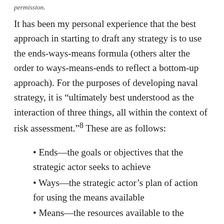permission.
It has been my personal experience that the best approach in starting to draft any strategy is to use the ends-ways-means formula (others alter the order to ways-means-ends to reflect a bottom-up approach). For the purposes of developing naval strategy, it is “uitimately best understood as the interaction of three things, all within the context of risk assessment.”⁸ These are as follows:
Ends—the goals or objectives that the strategic actor seeks to achieve
Ways—the strategic actor’s plan of action for using the means available
Means—the resources available to the strategic actor